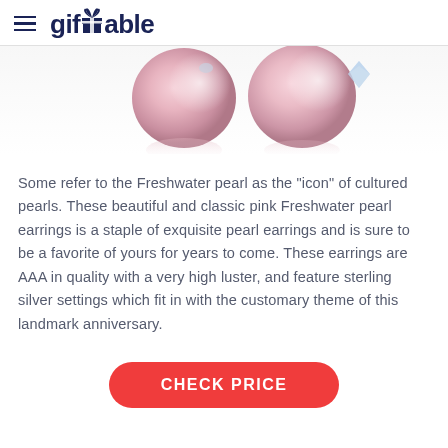giftTable
[Figure (photo): Two pink freshwater pearl earrings with silver settings on a white reflective surface]
Some refer to the Freshwater pearl as the "icon" of cultured pearls. These beautiful and classic pink Freshwater pearl earrings is a staple of exquisite pearl earrings and is sure to be a favorite of yours for years to come. These earrings are AAA in quality with a very high luster, and feature sterling silver settings which fit in with the customary theme of this landmark anniversary.
CHECK PRICE